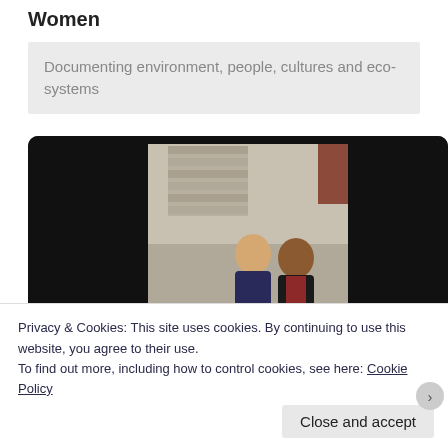Women
Documenting environment, people, cultures and eco-systems
[Figure (photo): Two young women posing together outdoors in front of a stone building. One wears a dark jacket and the other wears a red outfit. The image is displayed inside a dark laptop/monitor frame.]
Privacy & Cookies: This site uses cookies. By continuing to use this website, you agree to their use.
To find out more, including how to control cookies, see here: Cookie Policy
Close and accept